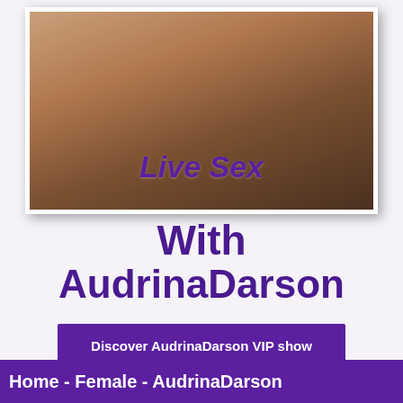[Figure (photo): Woman in blue bikini sitting on a white chair in an interior room setting. Text overlay reads 'Live Sex' in purple italic bold font.]
With AudrinaDarson
Discover AudrinaDarson VIP show
Home - Female - AudrinaDarson